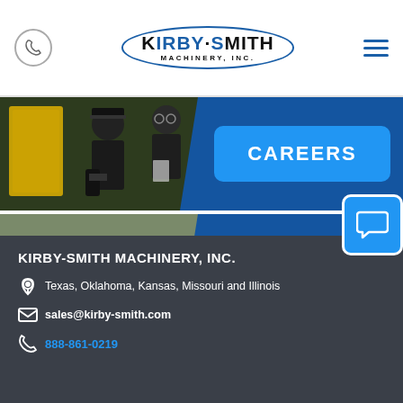Kirby-Smith Machinery, Inc. — website header with phone icon, logo, and hamburger menu
[Figure (photo): Two workers in dark uniforms examining machinery parts with yellow heavy equipment in background. Blue diagonal banner with CAREERS button.]
[Figure (photo): Yellow bulldozer/crawler dozer working on a dirt excavation site with other construction equipment in background. Blue diagonal banner with CONTACT button.]
KIRBY-SMITH MACHINERY, INC.
Texas, Oklahoma, Kansas, Missouri and Illinois
sales@kirby-smith.com
888-861-0219